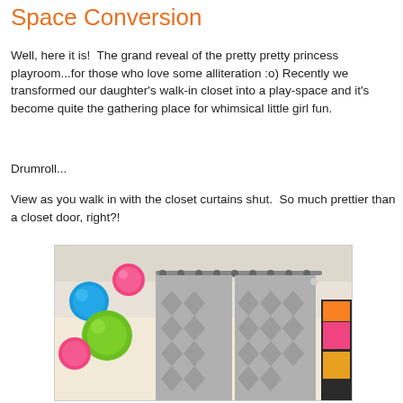Space Conversion
Well, here it is!  The grand reveal of the pretty pretty princess playroom...for those who love some alliteration :o) Recently we transformed our daughter's walk-in closet into a play-space and it's become quite the gathering place for whimsical little girl fun.
Drumroll...
View as you walk in with the closet curtains shut.  So much prettier than a closet door, right?!
[Figure (photo): Interior room photo showing decorative tissue paper pom-poms (blue, pink, green) hanging from the ceiling, and gray patterned curtains on a curtain rod. A dark cabinet or lantern is partially visible on the right side.]